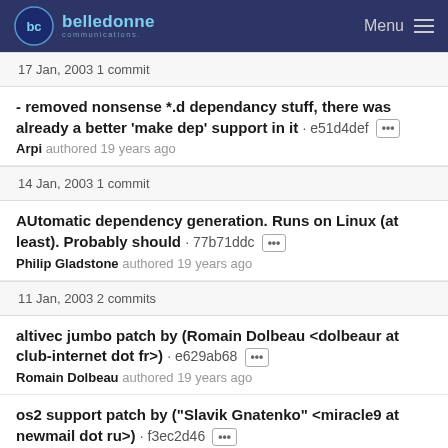belledonne communications - Menu
17 Jan, 2003 1 commit
- removed nonsense *.d dependancy stuff, there was already a better 'make dep' support in it · e51d4def
Arpi authored 19 years ago
14 Jan, 2003 1 commit
AUtomatic dependency generation. Runs on Linux (at least). Probably should · 77b71ddc
Philip Gladstone authored 19 years ago
11 Jan, 2003 2 commits
altivec jumbo patch by (Romain Dolbeau <dolbeaur at club-internet dot fr>) · e629ab68
Romain Dolbeau authored 19 years ago
os2 support patch by ("Slavik Gnatenko" <miracle9 at newmail dot ru>) · f3ec2d46